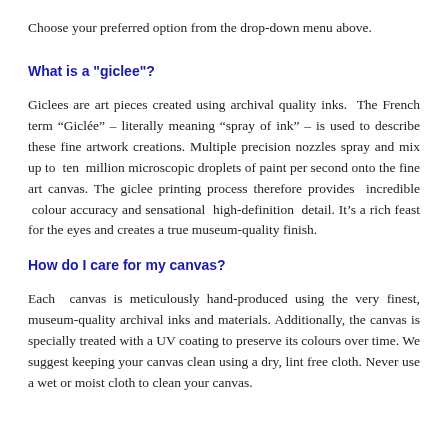Choose your preferred option from the drop-down menu above.
What is a "giclee"?
Giclees are art pieces created using archival quality inks.  The French term “Giclée” – literally meaning “spray of ink” – is used to describe these fine artwork creations. Multiple precision nozzles spray and mix up to  ten  million microscopic droplets of paint per second onto the fine art canvas. The giclee printing process therefore provides  incredible  colour accuracy and sensational  high-definition  detail. It’s a rich feast for the eyes and creates a true museum-quality finish.
How do I care for my canvas?
Each  canvas is meticulously hand-produced using the very finest, museum-quality archival inks and materials. Additionally, the canvas is specially treated with a UV coating to preserve its colours over time. We suggest keeping your canvas clean using a dry, lint free cloth. Never use a wet or moist cloth to clean your canvas.